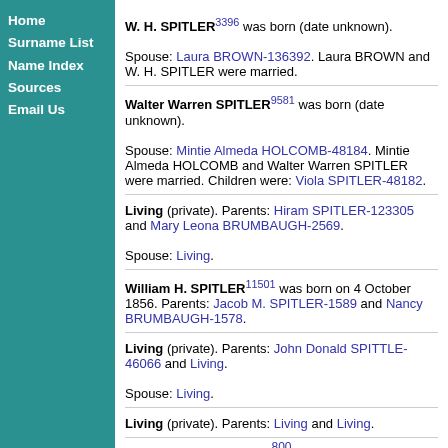Home
Surname List
Name Index
Sources
Email Us
W. H. SPITLER3396 was born (date unknown). Spouse: Laura BROWN-136392. Laura BROWN and W. H. SPITLER were married.
Walter Warren SPITLER9581 was born (date unknown). Spouse: Mintie Almeda HOLCOMB-48184. Mintie Almeda HOLCOMB and Walter Warren SPITLER were married. Children were: Viola SPITLER-48182.
Living (private). Parents: Hiram SPITLER-123305 and Mary Leona BRUMBAUGH-2569. Spouse: Living.
William H. SPITLER11501 was born on 4 October 1856. Parents: Jacob M. SPITLER-1589 and Nancy BRUMBAUGH-1578.
Living (private). Parents: John Donald SPITTLE-46066 and Living. Spouse: Living.
Living (private). Parents: Living and Living.
800